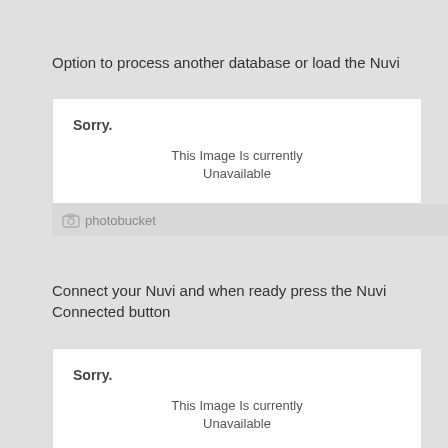Option to process another database or load the Nuvi
[Figure (screenshot): Photobucket placeholder image showing 'Sorry. This Image Is currently Unavailable' with Photobucket logo footer]
Connect your Nuvi and when ready press the Nuvi Connected button
[Figure (screenshot): Photobucket placeholder image showing 'Sorry. This Image Is currently Unavailable' with Photobucket logo footer]